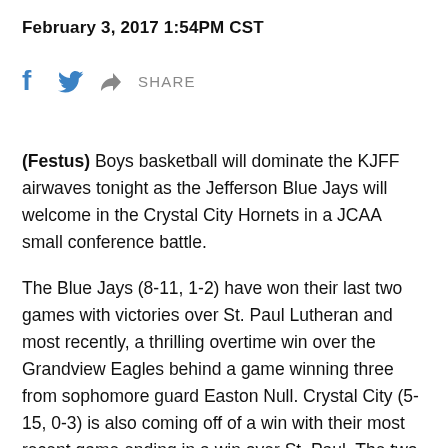February 3, 2017 1:54PM CST
(Festus) Boys basketball will dominate the KJFF airwaves tonight as the Jefferson Blue Jays will welcome in the Crystal City Hornets in a JCAA small conference battle.
The Blue Jays (8-11, 1-2) have won their last two games with victories over St. Paul Lutheran and most recently, a thrilling overtime win over the Grandview Eagles behind a game winning three from sophomore guard Easton Null. Crystal City (5-15, 0-3) is also coming off of a win with their most recent game ending in a win over St. Paul. The two teams played earlier this season with the Hornets